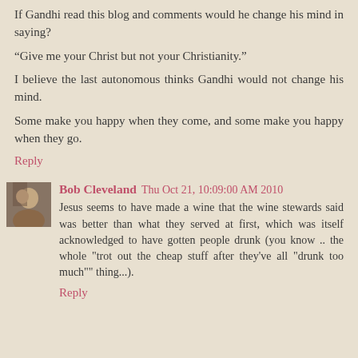If Gandhi read this blog and comments would he change his mind in saying?
“Give me your Christ but not your Christianity.”
I believe the last autonomous thinks Gandhi would not change his mind.
Some make you happy when they come, and some make you happy when they go.
Reply
Bob Cleveland  Thu Oct 21, 10:09:00 AM 2010
Jesus seems to have made a wine that the wine stewards said was better than what they served at first, which was itself acknowledged to have gotten people drunk (you know .. the whole "trot out the cheap stuff after they've all "drunk too much"" thing...).
Reply